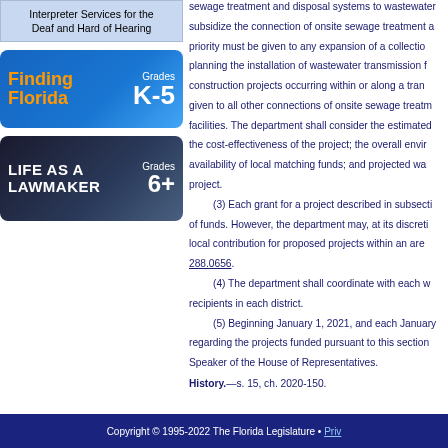Interpreter Services for the Deaf and Hard of Hearing
[Figure (illustration): Finding Florida Grades K-5 educational banner with blue gradient background]
[Figure (illustration): Life as a Lawmaker Grades 6+ educational banner with dark blue background and building image]
sewage treatment and disposal systems to wastewater subsidize the connection of onsite sewage treatment a priority must be given to any expansion of a collectio planning the installation of wastewater transmission f construction projects occurring within or along a tran given to all other connections of onsite sewage treatm facilities. The department shall consider the estimated the cost-effectiveness of the project; the overall envir availability of local matching funds; and projected wa project.
(3)    Each grant for a project described in subsecti of funds. However, the department may, at its discreti local contribution for proposed projects within an are 288.0656.
(4)    The department shall coordinate with each w recipients in each district.
(5)    Beginning January 1, 2021, and each January regarding the projects funded pursuant to this section Speaker of the House of Representatives.
History.—s. 15, ch. 2020-150.
Copyright © 1995-2022 The Florida Legislature • Priv